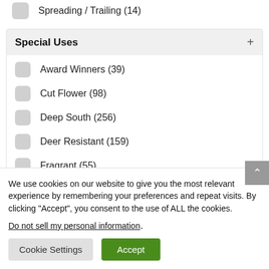Spreading / Trailing (14)
Special Uses +
Award Winners (39)
Cut Flower (98)
Deep South (256)
Deer Resistant (159)
Fragrant (55)
Show more
We use cookies on our website to give you the most relevant experience by remembering your preferences and repeat visits. By clicking “Accept”, you consent to the use of ALL the cookies.
Do not sell my personal information.
Cookie Settings   Accept